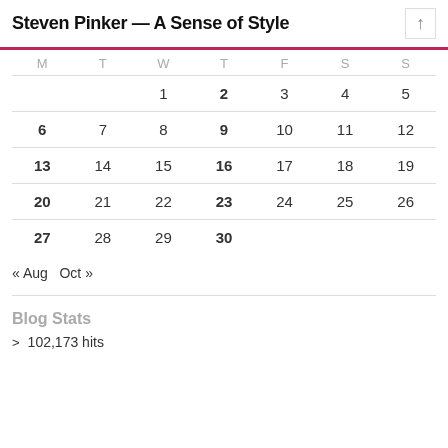Steven Pinker — A Sense of Style
| M | T | W | T | F | S | S |
| --- | --- | --- | --- | --- | --- | --- |
|  |  | 1 | 2 | 3 | 4 | 5 |
| 6 | 7 | 8 | 9 | 10 | 11 | 12 |
| 13 | 14 | 15 | 16 | 17 | 18 | 19 |
| 20 | 21 | 22 | 23 | 24 | 25 | 26 |
| 27 | 28 | 29 | 30 |  |  |  |
« Aug   Oct »
Blog Stats
102,173 hits